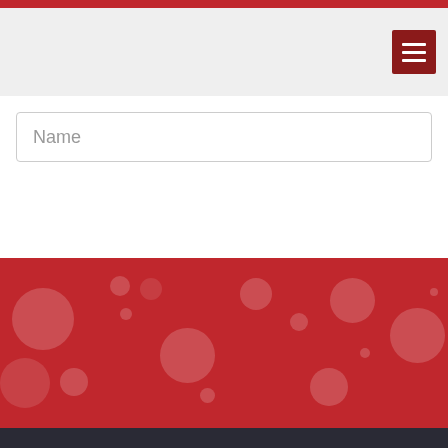[Figure (screenshot): Red top navigation bar with hamburger menu button]
Name
Be the first to comment.
Subscribe  Add Disqus  Do Not Sell My Data  DISQUS
[Figure (illustration): Red banner footer with translucent bubble circles pattern and dark footer strip]